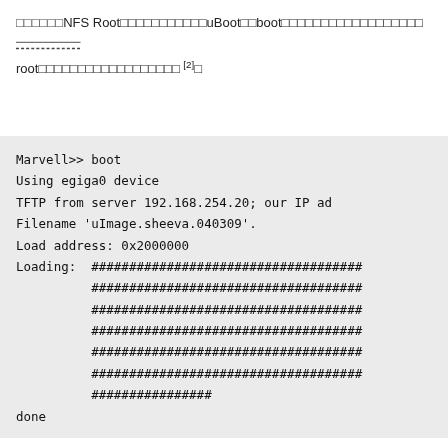□□□□□□NFS Root□□□□□□□□□□□uBoot□□boot□□□□□□□□□□□□□□□□□□□□□
root□□□□□□□□□□□□□□□□□□□[2]□
[Figure (screenshot): Terminal output showing uBoot boot sequence: Marvell>> boot, Using egiga0 device, TFTP from server 192.168.254.20; our IP ad, Filename 'uImage.sheeva.040309'., Load address: 0x2000000, Loading: followed by multiple lines of ### characters, done]